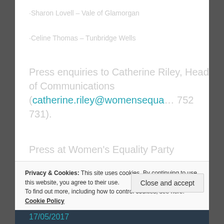·Sharon Lovell – Vale of Glamorgan
·Celine Thomas – Tunbridge Wells
Press enquiries to Catherine Riley, Head of Communications (catherine.riley@womensequa… 752 731).
Press at Women's Equality Party
Privacy & Cookies:  This site uses cookies. By continuing to use this website, you agree to their use.
To find out more, including how to control cookies, see here: Cookie Policy
17/05/2017